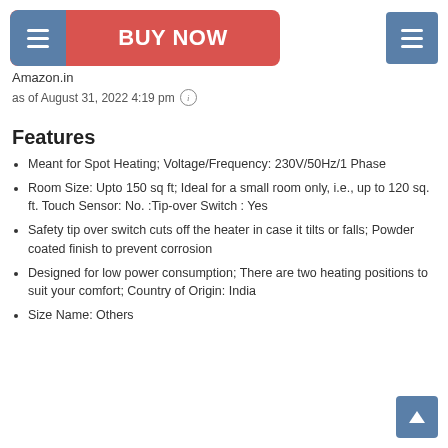[Figure (screenshot): Red Buy Now button with hamburger icon on the left, Amazon.in e-commerce UI element]
Amazon.in
as of August 31, 2022 4:19 pm ℹ
Features
Meant for Spot Heating; Voltage/Frequency: 230V/50Hz/1 Phase
Room Size: Upto 150 sq ft; Ideal for a small room only, i.e., up to 120 sq. ft. Touch Sensor: No. :Tip-over Switch : Yes
Safety tip over switch cuts off the heater in case it tilts or falls; Powder coated finish to prevent corrosion
Designed for low power consumption; There are two heating positions to suit your comfort; Country of Origin: India
Size Name: Others